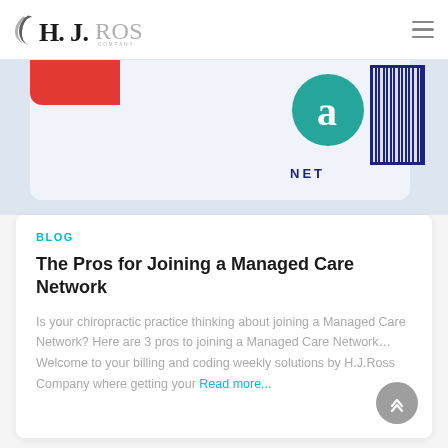H.J. Ross Company
[Figure (photo): Partial view of a medical insurance card or membership card showing red corner, barcode, and a teal/blue logo with letter 'a', partial text 'NET' visible]
BLOG
The Pros for Joining a Managed Care Network
Is your chiropractic practice thinking about joining a Managed Care Network? Here are 3 pros to joining a Managed Care Network… Welcome to your billing and coding weekly solutions by H.J.Ross Company where getting your Read more...